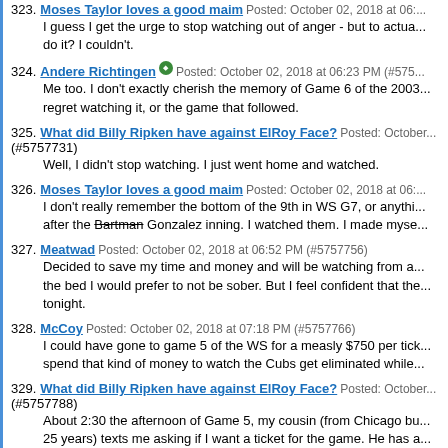323. Moses Taylor loves a good maim Posted: October 02, 2018 at 06:... I guess I get the urge to stop watching out of anger - but to actua... do it? I couldn't.
324. Andere Richtingen Posted: October 02, 2018 at 06:23 PM (#575... Me too. I don't exactly cherish the memory of Game 6 of the 2003... regret watching it, or the game that followed.
325. What did Billy Ripken have against ElRoy Face? Posted: October (#5757731) Well, I didn't stop watching. I just went home and watched.
326. Moses Taylor loves a good maim Posted: October 02, 2018 at 06:... I don't really remember the bottom of the 9th in WS G7, or anythi... after the Bartman Gonzalez inning. I watched them. I made myse...
327. Meatwad Posted: October 02, 2018 at 06:52 PM (#5757756) Decided to save my time and money and will be watching from a... the bed I would prefer to not be sober. But I feel confident that the... tonight.
328. McCoy Posted: October 02, 2018 at 07:18 PM (#5757766) I could have gone to game 5 of the WS for a measly $750 per tick... spend that kind of money to watch the Cubs get eliminated while...
329. What did Billy Ripken have against ElRoy Face? Posted: October (#5757788) About 2:30 the afternoon of Game 5, my cousin (from Chicago bu... 25 years) texts me asking if I want a ticket for the game. He has a... MLB, because he's a well-connected guy. She had gotten tickets... and then apparently had a couple extras for me and his sister. Th... got them either for free or for face value, so no charge for me.